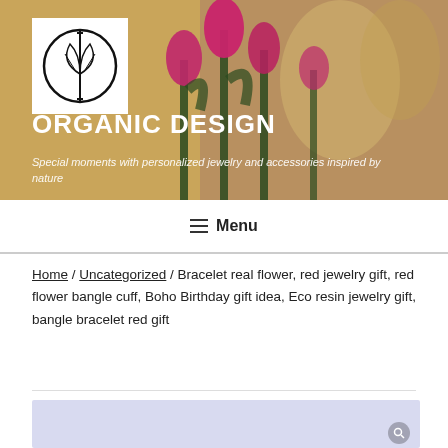[Figure (photo): Hero banner image with pink/magenta tulips in background and blurred interior scene. Organic Design logo (leaf in circle) in white box top left.]
ORGANIC DESIGN
Special moments with personalized jewelry and accessories inspired by nature
≡ Menu
Home / Uncategorized / Bracelet real flower, red jewelry gift, red flower bangle cuff, Boho Birthday gift idea, Eco resin jewelry gift, bangle bracelet red gift
[Figure (photo): Partial bottom image with lavender/light blue background, beginning of product photo]